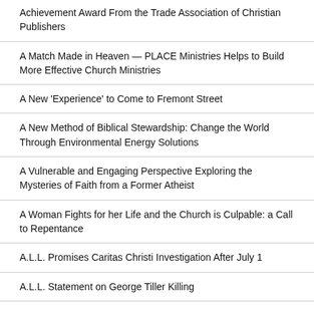Achievement Award From the Trade Association of Christian Publishers
A Match Made in Heaven — PLACE Ministries Helps to Build More Effective Church Ministries
A New 'Experience' to Come to Fremont Street
A New Method of Biblical Stewardship: Change the World Through Environmental Energy Solutions
A Vulnerable and Engaging Perspective Exploring the Mysteries of Faith from a Former Atheist
A Woman Fights for her Life and the Church is Culpable: a Call to Repentance
A.L.L. Promises Caritas Christi Investigation After July 1
A.L.L. Statement on George Tiller Killing